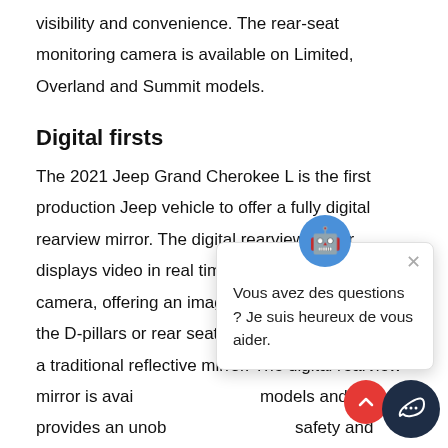visibility and convenience. The rear-seat monitoring camera is available on Limited, Overland and Summit models.
Digital firsts
The 2021 Jeep Grand Cherokee L is the first production Jeep vehicle to offer a fully digital rearview mirror. The digital rearview mirror displays video in real time from a rear-facing camera, offering an image that is unobstructed by the D-pillars or rear seats. It also reverts back to a traditional reflective mirror. The digital rearview mirror is available on [models] and provides an unobstructed [view enhancing] safety and prevents accidents.
Additionally, the Grand Cherokee L is the first production Jeep vehicle to offer a windshield HUD. Available on Overland and [Summit], the full-color display is configurable up to 10 inches and features